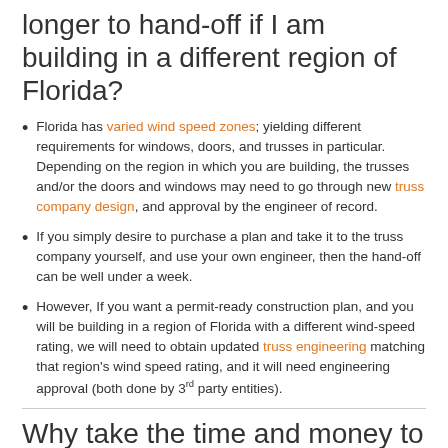longer to hand-off if I am building in a different region of Florida?
Florida has varied wind speed zones; yielding different requirements for windows, doors, and trusses in particular. Depending on the region in which you are building, the trusses and/or the doors and windows may need to go through new truss company design, and approval by the engineer of record.
If you simply desire to purchase a plan and take it to the truss company yourself, and use your own engineer, then the hand-off can be well under a week.
However, If you want a permit-ready construction plan, and you will be building in a region of Florida with a different wind-speed rating, we will need to obtain updated truss engineering matching that region's wind speed rating, and it will need engineering approval (both done by 3rd party entities).
Why take the time and money to